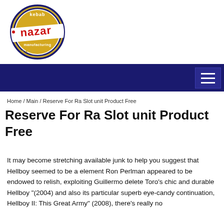[Figure (logo): Nazar Kebab Manufacturing circular logo with red 'nazar' text on a white banner, surrounded by a dark navy and gold circular border with stars]
Home / Main / Reserve For Ra Slot unit Product Free
Reserve For Ra Slot unit Product Free
It may become stretching available junk to help you suggest that Hellboy seemed to be a element Ron Perlman appeared to be endowed to relish, exploiting Guillermo delete Toro’s chic and durable Hellboy “(2004) and also its particular superb eye-candy continuation, Hellboy II: This Great Army” (2008), there’s really no